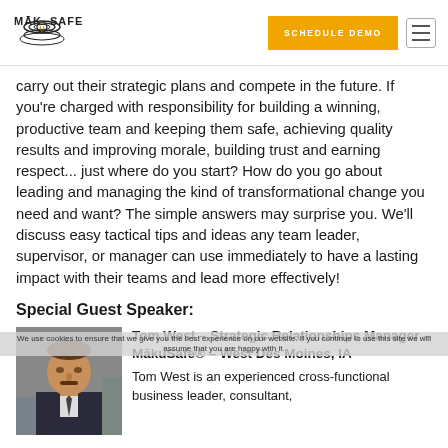[Figure (logo): MākuSafe logo with circular wave icon and text]
SCHEDULE DEMO
carry out their strategic plans and compete in the future. If you're charged with responsibility for building a winning, productive team and keeping them safe, achieving quality results and improving morale, building trust and earning respect... just where do you start? How do you go about leading and managing the kind of transformational change you need and want? The simple answers may surprise you. We'll discuss easy tactical tips and ideas any team leader, supervisor, or manager can use immediately to have a lasting impact with their teams and lead more effectively!
Special Guest Speaker:
[Figure (photo): Headshot photo of Tom West, a man in a suit at what appears to be a conference or trade show]
Tom West – Strategic Relationships Manager – MākuSafe® – West Des Moines, IA
Tom West is an experienced cross-functional business leader, consultant,